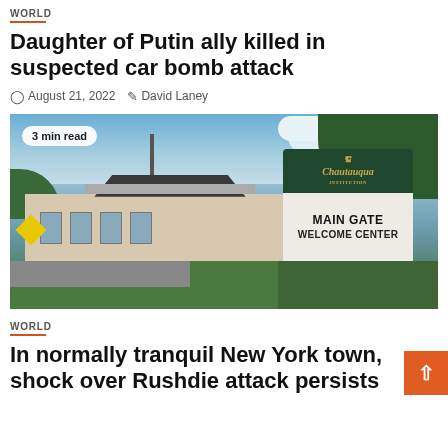WORLD
Daughter of Putin ally killed in suspected car bomb attack
August 21, 2022  David Laney
[Figure (photo): Exterior photo of the Chautauqua Institution Main Gate Welcome Center, a brick building with a green arched sign reading Chautauqua Institution and a white sign reading MAIN GATE WELCOME CENTER. A utility pole, trees, clouds, and green grounds are visible.]
3 min read
WORLD
In normally tranquil New York town, shock over Rushdie attack persists